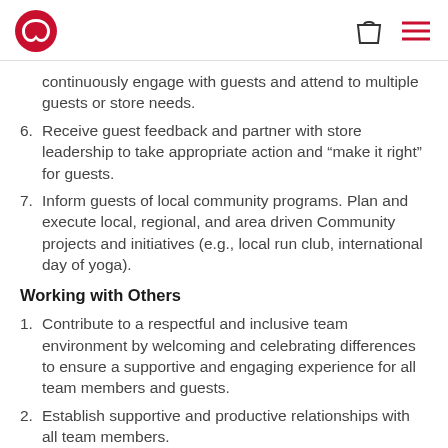lululemon logo, shopping bag icon, menu icon
continuously engage with guests and attend to multiple guests or store needs.
6. Receive guest feedback and partner with store leadership to take appropriate action and “make it right” for guests.
7. Inform guests of local community programs. Plan and execute local, regional, and area driven Community projects and initiatives (e.g., local run club, international day of yoga).
Working with Others
1. Contribute to a respectful and inclusive team environment by welcoming and celebrating differences to ensure a supportive and engaging experience for all team members and guests.
2. Establish supportive and productive relationships with all team members.
3. Collaborate with team members to ensure optimal guest experience and support store operations.